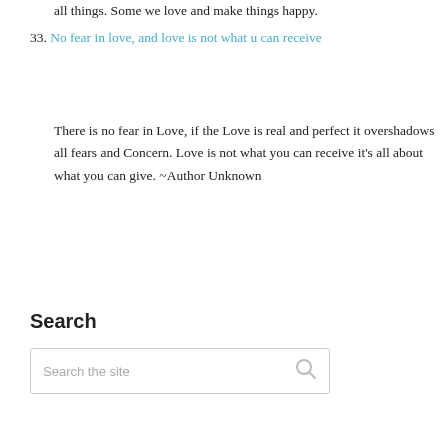all things. Some we love and make things happy.
33. No fear in love, and love is not what u can receive
There is no fear in Love, if the Love is real and perfect it overshadows all fears and Concern. Love is not what you can receive it's all about what you can give. ~Author Unknown
Search
Search the site